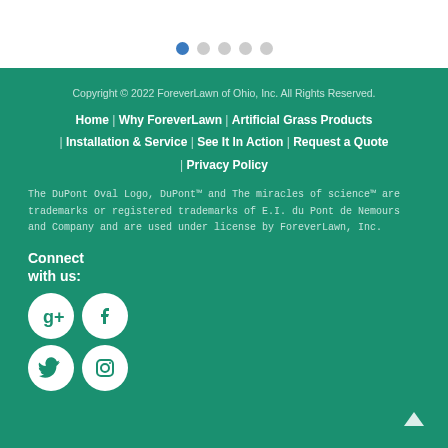[Figure (other): Pagination dots: one filled blue dot followed by four grey dots]
Copyright © 2022 ForeverLawn of Ohio, Inc. All Rights Reserved.
Home | Why ForeverLawn | Artificial Grass Products | Installation & Service | See It In Action | Request a Quote | Privacy Policy
The DuPont Oval Logo, DuPont™ and The miracles of science™ are trademarks or registered trademarks of E.I. du Pont de Nemours and Company and are used under license by ForeverLawn, Inc.
Connect with us: [Google+, Facebook, Twitter, Instagram icons]